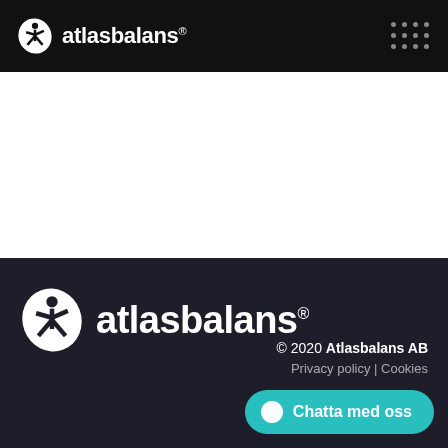atlasbalans®
[Figure (logo): Atlasbalans logo in white on black header bar with grid of dots on the right]
[Figure (logo): Large Atlasbalans logo in white on dark footer section]
© 2020 Atlasbalans AB
Privacy policy | Cookies
Chatta med oss